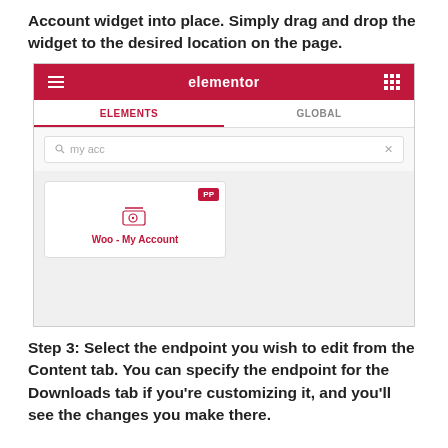Account widget into place. Simply drag and drop the widget to the desired location on the page.
[Figure (screenshot): Screenshot of the Elementor panel showing the Elements and Global tabs, a search box with 'my acc' typed, and a Woo - My Account widget card with a PP badge.]
Step 3: Select the endpoint you wish to edit from the Content tab. You can specify the endpoint for the Downloads tab if you're customizing it, and you'll see the changes you make there.